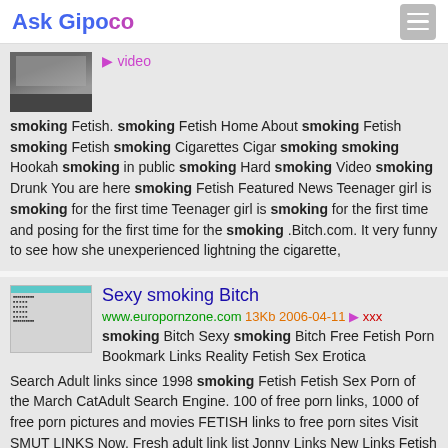Ask Gipoco
[Figure (screenshot): Thumbnail image of a video page with masked figure]
video smoking Fetish. smoking Fetish Home About smoking Fetish smoking Fetish smoking Cigarettes Cigar smoking smoking Hookah smoking in public smoking Hard smoking Video smoking Drunk You are here smoking Fetish Featured News Teenager girl is smoking for the first time Teenager girl is smoking for the first time and posing for the first time for the smoking .Bitch.com. It very funny to see how she unexperienced lightning the cigarette,
Sexy smoking Bitch
www.europornzone.com 13Kb 2006-04-11 xxx
smoking Bitch Sexy smoking Bitch Free Fetish Porn Bookmark Links Reality Fetish Sex Erotica Search Adult links since 1998 smoking Fetish Fetish Sex Porn of the March CatAdult Search Engine. 100 of free porn links, 1000 of free porn pictures and movies FETISH links to free porn sites Visit SMUT LINKS Now. Fresh adult link list Jonny Links New Links Fetish smoking Search for... Fetish home fetish.home.com HOT SEX